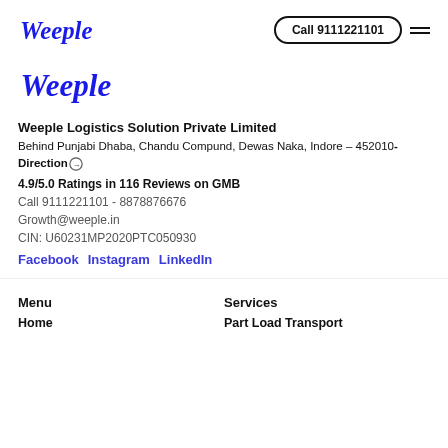Weeple logo | Call 9111221101 | Menu
[Figure (logo): Weeple logo in blue serif italic font (large)]
Weeple Logistics Solution Private Limited
Behind Punjabi Dhaba, Chandu Compund, Dewas Naka, Indore – 452010- Direction
4.9/5.0 Ratings in 116 Reviews on GMB
Call 9111221101 - 8878876676
Growth@weeple.in
CIN: U60231MP2020PTC050930
Facebook Instagram LinkedIn
Menu
Services
Home
Part Load Transport